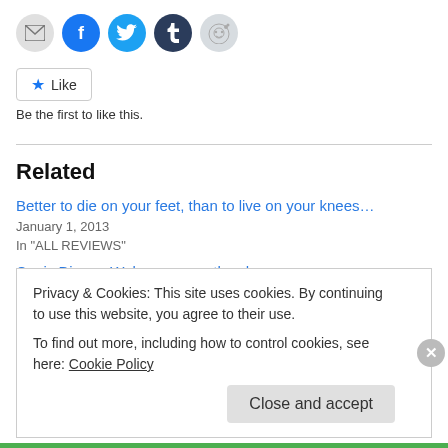[Figure (infographic): Row of social sharing icon circles: email (gray), Facebook (blue), Twitter (light blue), Tumblr (dark navy), Reddit (light gray)]
[Figure (infographic): Like button with blue star icon and 'Like' text, bordered rectangle]
Be the first to like this.
Related
Better to die on your feet, than to live on your knees…
January 1, 2013
In "ALL REVIEWS"
Canis Dirus – Wolves among the sheep…
Privacy & Cookies: This site uses cookies. By continuing to use this website, you agree to their use.
To find out more, including how to control cookies, see here: Cookie Policy
Close and accept